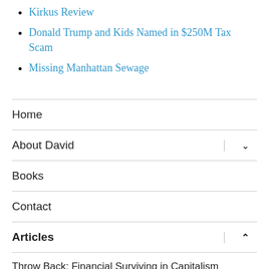Kirkus Review
Donald Trump and Kids Named in $250M Tax Scam
Missing Manhattan Sewage
Home
About David
Books
Contact
Articles
Throw Back: Financial Surviving in Capitalism